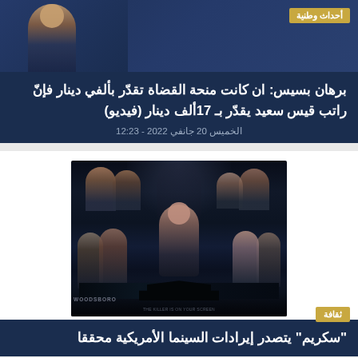[Figure (photo): Top news article header image showing a person in a studio/broadcast setting with dark blue background]
أحداث وطنية
برهان بسيس: ان كانت منحة القضاة تقدّر بألفي دينار فإنّ راتب قيس سعيد يقدّر بـ 17ألف دينار (فيديو)
الخميس 20 جانفي 2022 - 12:23
[Figure (photo): Movie poster for Scream (2022) showing multiple cast members against a dark background with the Woodsboro sign at the bottom]
ثقافة
"سكريم" يتصدر إيرادات السينما الأمريكية محققا